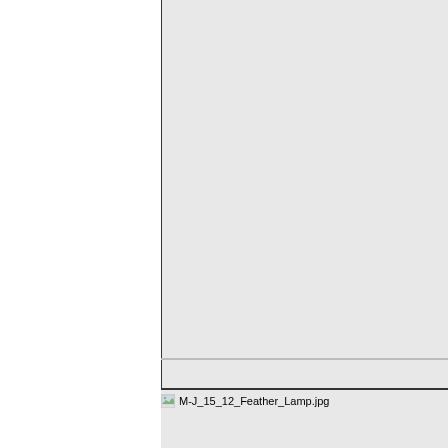[Figure (screenshot): A software interface showing a two-panel layout. The left panel is white/blank. The right panel is light gray with a vertical border on the left side. There is a horizontal divider line near the bottom of the gray panel. Below the heavy horizontal line, a file entry shows a small image icon followed by the filename 'M-J_15_12_Feather_Lamp.jpg'.]